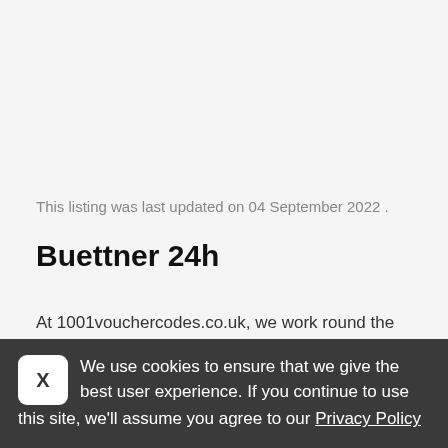This listing was last updated on 04 September 2022 .
Buettner 24h
At 1001vouchercodes.co.uk, we work round the clock to help our customers get the best deals and offers from all UK brands. Besides Buettner, we also offer 20,000 online
We use cookies to ensure that we give the best user experience. If you continue to use this site, we'll assume you agree to our Privacy Policy